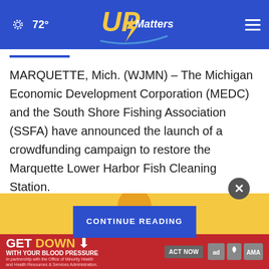72° UPMatters.com
MARQUETTE, Mich. (WJMN) – The Michigan Economic Development Corporation (MEDC) and the South Shore Fishing Association (SSFA) have announced the launch of a crowdfunding campaign to restore the Marquette Lower Harbor Fish Cleaning Station.
The campaign [CONTINUE READING] by July 16, 2022, to be up... ...and update...
[Figure (screenshot): Advertisement banner: GET DOWN WITH YOUR BLOOD PRESSURE - ACT NOW, with ad council, American Heart Association, and AMA logos]